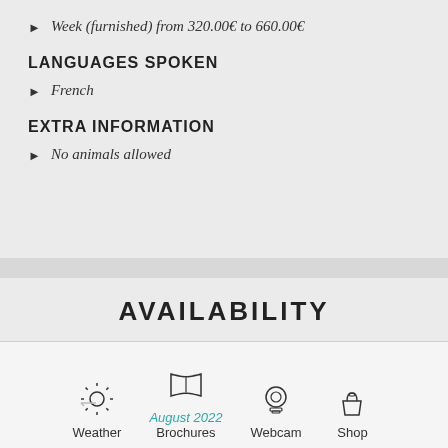Week (furnished) from 320.00€ to 660.00€
LANGUAGES SPOKEN
French
EXTRA INFORMATION
No animals allowed
AVAILABILITY
Available □  Fully booked ■  Not available ■
[Figure (other): Bottom navigation icons: Weather, Brochures, Webcam, Shop with August 2022 text overlay on Brochures icon]